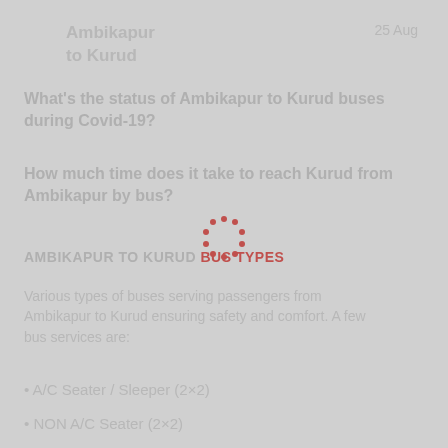Ambikapur to Kurud
25 Aug
What's the status of Ambikapur to Kurud buses during Covid-19?
How much time does it take to reach Kurud from Ambikapur by bus?
[Figure (other): Loading spinner animation — a dashed circle of red dots]
AMBIKAPUR TO KURUD BUS TYPES
Various types of buses serving passengers from Ambikapur to Kurud ensuring safety and comfort. A few bus services are:
• A/C Seater / Sleeper (2×2)
• NON A/C Seater (2×2)